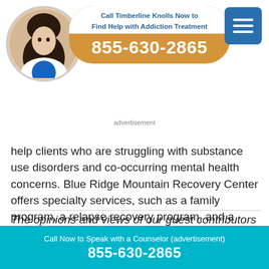[Figure (infographic): Ad banner for Timberline Knolls addiction treatment with photo of woman, phone number 855-630-2865, and menu button]
advertisement
help clients who are struggling with substance use disorders and co-occurring mental health concerns. Blue Ridge Mountain Recovery Center offers specialty services, such as a family program, a relapse recovery program, and a treatment track designed for veterans. To learn more, visit www.blueridgemountainrecovery.com.
The opinions and views of our guest contributors are shared to provide a broad perspective of addictions. These
Call Now to Speak with a Counselor (advertisement)
855-630-2865